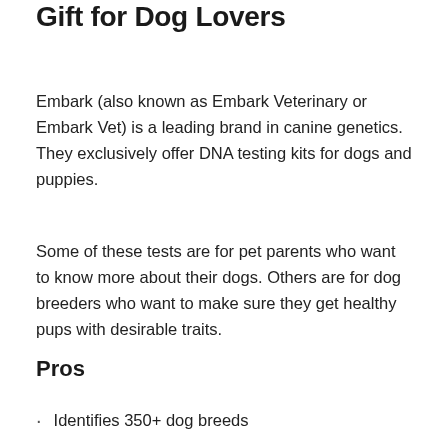Embark — The Best Holiday Gift for Dog Lovers
Embark (also known as Embark Veterinary or Embark Vet) is a leading brand in canine genetics. They exclusively offer DNA testing kits for dogs and puppies.
Some of these tests are for pet parents who want to know more about their dogs. Others are for dog breeders who want to make sure they get healthy pups with desirable traits.
Pros
Identifies 350+ dog breeds